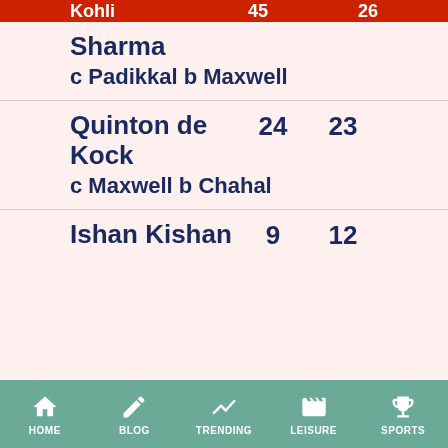| Player | Runs | Balls |
| --- | --- | --- |
| Rohit Sharma
c Padikkal b Maxwell | 45 | 26 |
| Quinton de Kock
c Maxwell b Chahal | 24 | 23 |
| Ishan Kishan | 9 | 12 |
HOME   BLOG   TRENDING   LEISURE   SPORTS